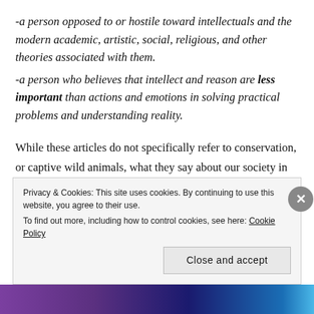-a person opposed to or hostile toward intellectuals and the modern academic, artistic, social, religious, and other theories associated with them.
-a person who believes that intellect and reason are less important than actions and emotions in solving practical problems and understanding reality.
While these articles do not specifically refer to conservation, or captive wild animals, what they say about our society in general is shockingly accurate. In
Privacy & Cookies: This site uses cookies. By continuing to use this website, you agree to their use.
To find out more, including how to control cookies, see here: Cookie Policy
[Close and accept]